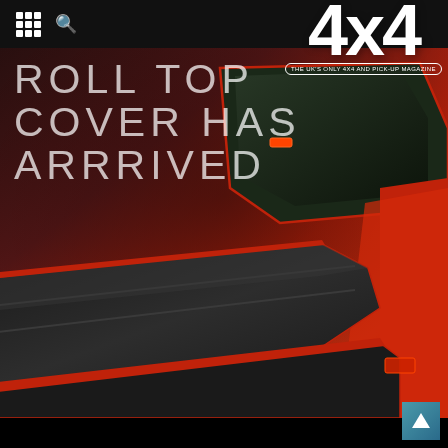[Figure (screenshot): Mobile app screenshot showing a 4x4 magazine article page. Top black navigation bar with grid menu icon and search icon on the left, and large bold '4x4' logo with tagline 'THE UK'S ONLY 4X4 AND PICK-UP MAGAZINE' on the upper right. Main content shows a large promotional image of a red pickup truck with a black roll-top tonneau cover, overlaid with white text reading 'ROLL TOP COVER HAS ARRRIVED'. A teal back-to-top arrow button appears in the bottom right corner.]